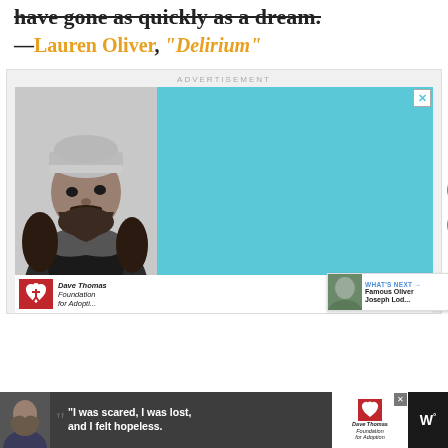have gone as quickly as a dream.
—Lauren Oliver, "Delirium"
[Figure (screenshot): Advertisement block containing a black-and-white portrait photo of a young man with a beanie hat and beard, next to a light blue panel with Dave Thomas Foundation for Adoption logo and text, with close button, sidebar heart and share buttons, and a 'What's Next' thumbnail bar showing 'Famous Oliver Joseph Lod...']
[Figure (screenshot): Bottom advertisement bar on dark background showing a girl photo, a quote 'I was scared, I was lost, and I felt hopeless.' with open-quote marks, Dave Thomas Foundation for Adoption logo, close button, and WW logo on far right]